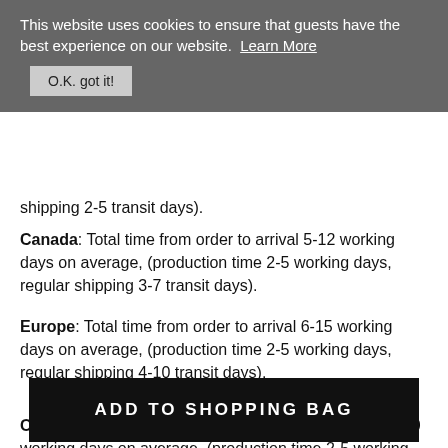This website uses cookies to ensure that guests have the best experience on our website. Learn More
O.K. got it!
shipping 2-5 transit days).
Canada: Total time from order to arrival 5-12 working days on average, (production time 2-5 working days, regular shipping 3-7 transit days).
Europe: Total time from order to arrival 6-15 working days on average, (production time 2-5 working days, regular shipping 4-10 transit days).
Other international: Total time from order to arrival 8-20 working days on average, (production time 2-5 working days, regular shipping 6-15 transit days).
ADD TO SHOPPING BAG